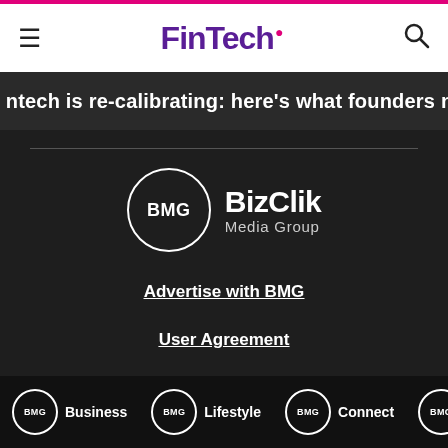FinTech.
ntech is re-calibrating: here’s what founders need to know
[Figure (logo): BizClik Media Group logo: circle with BMG text and BizClik Media Group wordmark in white on dark background]
Advertise with BMG
User Agreement
Privacy Policy
BMG Business | BMG Lifestyle | BMG Connect | BMG Intelligence